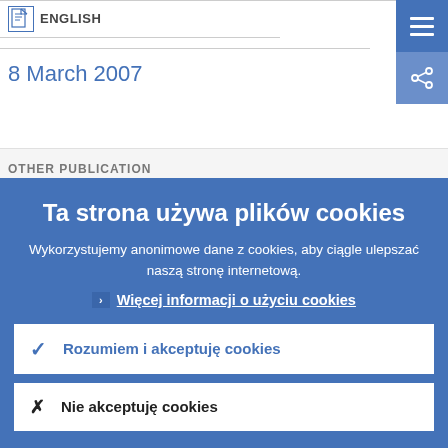[Figure (logo): PDF icon with flag symbol]
ENGLISH
[Figure (screenshot): Hamburger menu button (three horizontal lines) in blue square]
8 March 2007
[Figure (screenshot): Share icon button in blue square]
OTHER PUBLICATION
Ta strona używa plików cookies
Wykorzystujemy anonimowe dane z cookies, aby ciągle ulepszać naszą stronę internetową.
› Więcej informacji o użyciu cookies
✓ Rozumiem i akceptuję cookies
✕ Nie akceptuję cookies